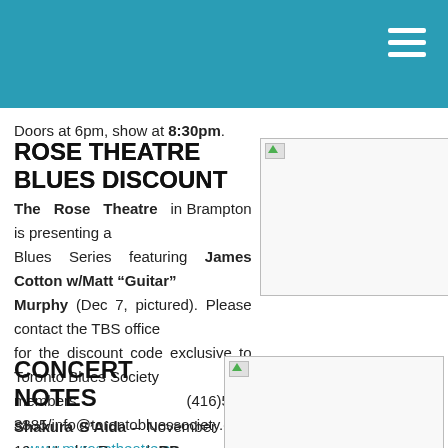Doors at 6pm, show at 8:30pm.
ROSE THEATRE BLUES DISCOUNT
The Rose Theatre in Brampton is presenting a Blues Series featuring James Cotton w/Matt "Guitar" Murphy (Dec 7, pictured). Please contact the TBS office for the discount code exclusive to Toronto Blues Society members (416)538-3885/info@torontobluessociety.com – www.myrosetheatre.ca
[Figure (photo): Photo of performer, broken image placeholder]
CONCERT NOTES
Shakura S'Aida – November 19 – Hugh's Room | BB King – November 20 & 21
[Figure (photo): Photo, broken image placeholder]